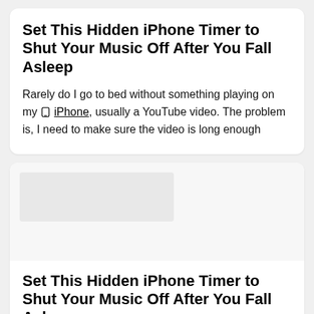Set This Hidden iPhone Timer to Shut Your Music Off After You Fall Asleep
Rarely do I go to bed without something playing on my iPhone, usually a YouTube video. The problem is, I need to make sure the video is long enough
[Figure (screenshot): A placeholder image area showing a partial screenshot of a web article]
Set This Hidden iPhone Timer to Shut Your Music Off After You Fall Asleep
Rarely do I go to bed without something playing on